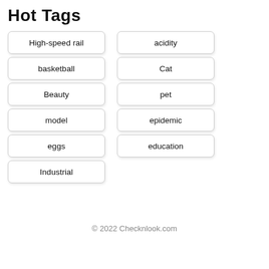Hot Tags
High-speed rail
basketball
Beauty
model
eggs
Industrial
acidity
Cat
pet
epidemic
education
© 2022 Checknlook.com